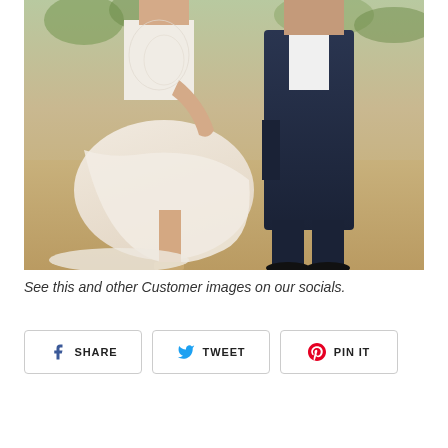[Figure (photo): Wedding photo showing a bride in a white lace high-low dress lifting her skirt, standing next to a groom in a dark navy suit on a dry grassy outdoor setting.]
See this and other Customer images on our socials.
SHARE  TWEET  PIN IT